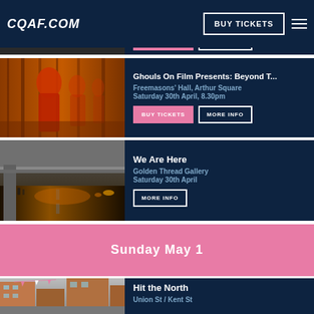CQAF.COM | BUY TICKETS
Oh Yeah Music Centre, Saturday 30th April, 8...pm
BUY TICKETS | MORE INFO
Ghouls On Film Presents: Beyond T...
Freemasons' Hall, Arthur Square
Saturday 30th April, 8.30pm
BUY TICKETS | MORE INFO
We Are Here
Golden Thread Gallery
Saturday 30th April
MORE INFO
Sunday May 1
Hit the North
Union St / Kent St